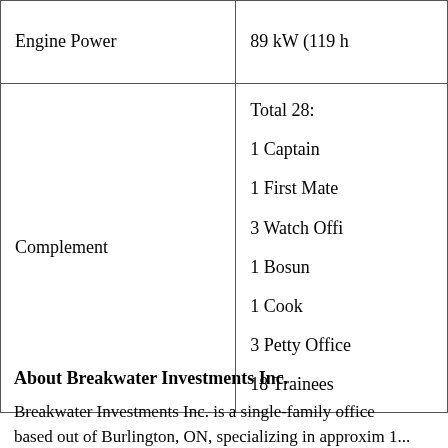|  |  |
| --- | --- |
| Engine Power | 89 kW (119 h |
| Complement | Total 28:
1 Captain
1 First Mate
3 Watch Offi
1 Bosun
1 Cook
3 Petty Office
18 Trainees |
About Breakwater Investments Inc.
Breakwater Investments Inc. is a single-family office based out of Burlington, ON, specializing in approximately 1...